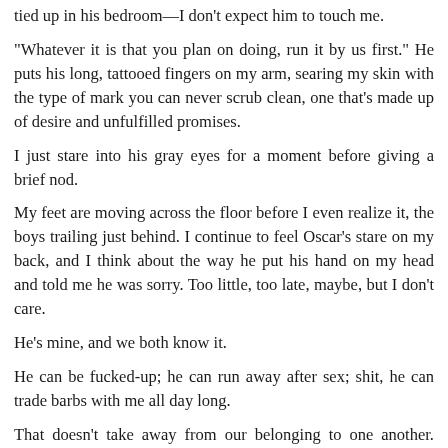tied up in his bedroom—I don't expect him to touch me.
“Whatever it is that you plan on doing, run it by us first.” He puts his long, tattooed fingers on my arm, searing my skin with the type of mark you can never scrub clean, one that's made up of desire and unfulfilled promises.
I just stare into his gray eyes for a moment before giving a brief nod.
My feet are moving across the floor before I even realize it, the boys trailing just behind. I continue to feel Oscar's stare on my back, and I think about the way he put his hand on my head and told me he was sorry. Too little, too late, maybe, but I don't care.
He’s mine, and we both know it.
He can be fucked-up; he can run away after sex; shit, he can trade barbs with me all day long.
That doesn’t take away from our belonging to one another. Signed and sealed, written in blood. Cannot be undone.
“Bernadette,” Officer Young says, her doe-brown eyes flicking past me to land on the boys. Like a murder of crows with sharp-sharp beaks,